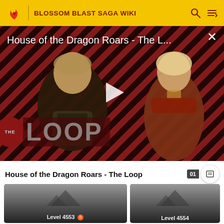BLOSSOM BLAST SAGA WIKI
[Figure (screenshot): Video player showing 'House of the Dragon Roars - The L...' with a play button overlay, diagonal red/dark stripe background, two characters (armored man and fair-haired woman), and THE LOOP logo in the lower left. An X close button is in the top right.]
House of the Dragon Roars - The Loop
[Figure (screenshot): Two video thumbnails side by side. Left thumbnail shows 'Level 4553' with a small icon. Right thumbnail shows 'Level 4554'. Both have grey gradient backgrounds with mountain silhouette placeholders.]